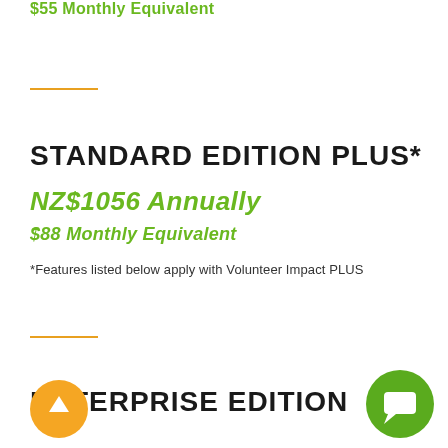$55 Monthly Equivalent
STANDARD EDITION PLUS*
NZ$1056 Annually
$88 Monthly Equivalent
*Features listed below apply with Volunteer Impact PLUS
ENTERPRISE EDITION